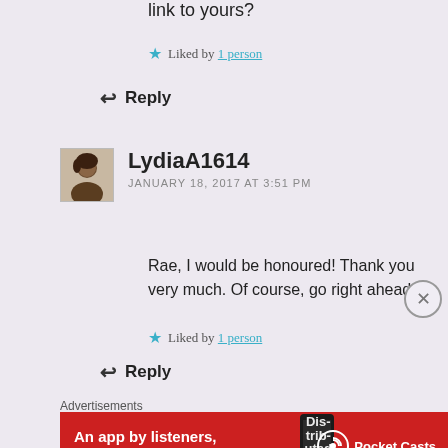link to yours?
★ Liked by 1 person
↩ Reply
LydiaA1614
JANUARY 18, 2017 AT 3:51 PM
Rae, I would be honoured! Thank you very much. Of course, go right ahead.
★ Liked by 1 person
↩ Reply
Advertisements
[Figure (other): Pocket Casts advertisement banner: An app by listeners, for listeners.]